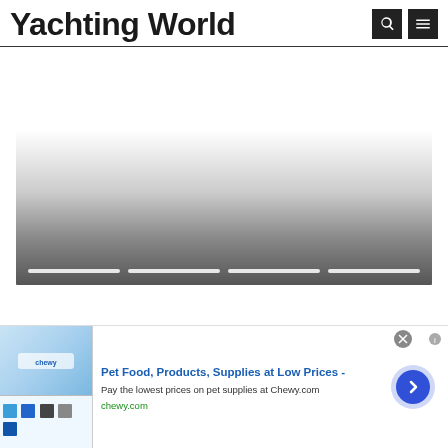Yachting World
[Figure (other): Slider/carousel placeholder image with gradient from white to dark gray, with four white progress bar segments at the bottom]
[Figure (other): Advertisement banner for Chewy.com: Pet Food, Products, Supplies at Low Prices. Pay the lowest prices on pet supplies at Chewy.com. Includes product images and a blue arrow CTA button.]